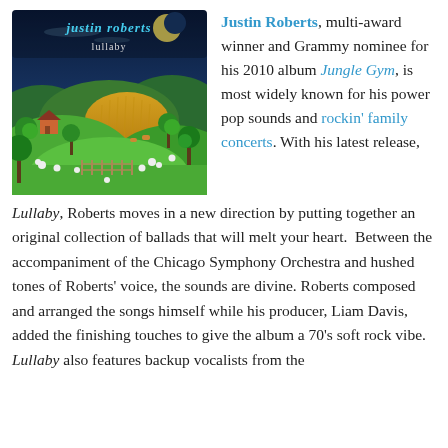[Figure (illustration): Album cover for 'lullaby' by Justin Roberts. Dark blue night sky background with the text 'justin roberts' in cyan/teal at the top and 'lullaby' in white below. Illustrated pastoral scene with rolling green hills, trees, sheep, a farmhouse, and a golden field.]
Justin Roberts, multi-award winner and Grammy nominee for his 2010 album Jungle Gym, is most widely known for his power pop sounds and rockin' family concerts. With his latest release,
Lullaby, Roberts moves in a new direction by putting together an original collection of ballads that will melt your heart.  Between the accompaniment of the Chicago Symphony Orchestra and hushed tones of Roberts' voice, the sounds are divine. Roberts composed and arranged the songs himself while his producer, Liam Davis, added the finishing touches to give the album a 70's soft rock vibe.  Lullaby also features backup vocalists from the